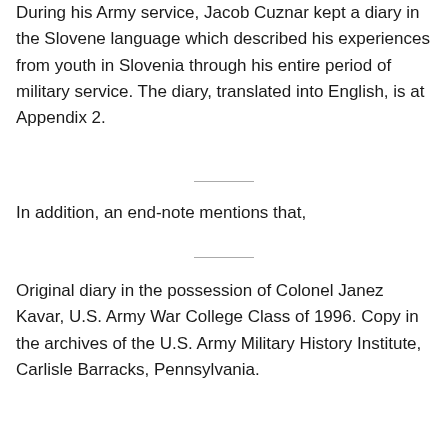During his Army service, Jacob Cuznar kept a diary in the Slovene language which described his experiences from youth in Slovenia through his entire period of military service. The diary, translated into English, is at Appendix 2.
In addition, an end-note mentions that,
Original diary in the possession of Colonel Janez Kavar, U.S. Army War College Class of 1996. Copy in the archives of the U.S. Army Military History Institute, Carlisle Barracks, Pennsylvania.